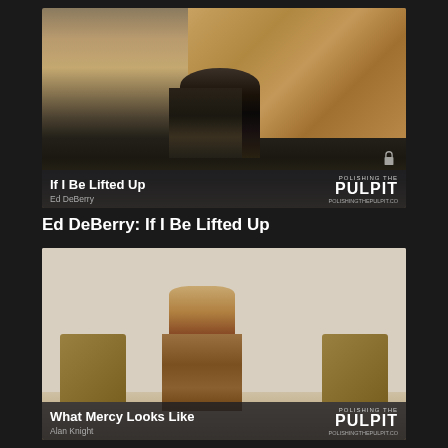[Figure (screenshot): Video thumbnail of Ed DeBerry preaching at a pulpit in a church with wood paneling. Overlay bar reads 'If I Be Lifted Up' with Polishing the Pulpit logo.]
Ed DeBerry: If I Be Lifted Up
[Figure (screenshot): Video thumbnail of a preacher in a tan jacket standing at a wooden pulpit in a church with white paneled walls and yellow chairs. Overlay bar reads 'What Mercy Looks Like' by Alan Knight with Polishing the Pulpit logo.]